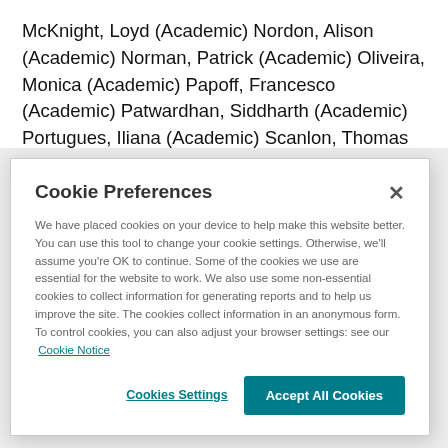McKnight, Loyd (Academic) Nordon, Alison (Academic) Norman, Patrick (Academic) Oliveira, Monica (Academic) Papoff, Francesco (Academic) Patwardhan, Siddharth (Academic) Portugues, Iliana (Academic) Scanlon, Thomas (Academic) Sefcik, Jan (Academic) Seib, Philipp (Academic) Skabara, Peter (Academic) Stack, Margaret (Academic) Stephen, Bruce (Academic) Tuttle, Tell (Academic) Ulijn, Rein
Cookie Preferences
We have placed cookies on your device to help make this website better. You can use this tool to change your cookie settings. Otherwise, we'll assume you're OK to continue. Some of the cookies we use are essential for the website to work. We also use some non-essential cookies to collect information for generating reports and to help us improve the site. The cookies collect information in an anonymous form. To control cookies, you can also adjust your browser settings: see our Cookie Notice